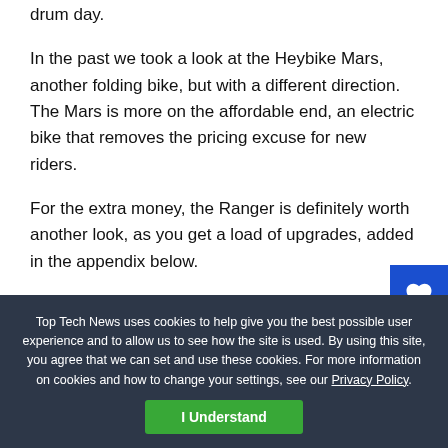drum day.
In the past we took a look at the Heybike Mars, another folding bike, but with a different direction. The Mars is more on the affordable end, an electric bike that removes the pricing excuse for new riders.
For the extra money, the Ranger is definitely worth another look, as you get a load of upgrades, added in the appendix below.
Heybike Ranger Specs
Top Tech News uses cookies to help give you the best possible user experience and to allow us to see how the site is used. By using this site, you agree that we can set and use these cookies. For more information on cookies and how to change your settings, see our Privacy Policy.
I Understand